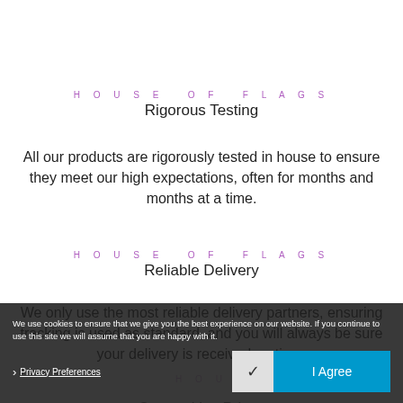HOUSE OF FLAGS
Rigorous Testing
All our products are rigorously tested in house to ensure they meet our high expectations, often for months and months at a time.
HOUSE OF FLAGS
Reliable Delivery
We only use the most reliable delivery partners, ensuring tracking is used as standard, and you will always be sure your delivery is received on time.
We use cookies to ensure that we give you the best experience on our website. If you continue to use this site we will assume that you are happy with it.
Privacy Preferences
HOU
Competitive Prices